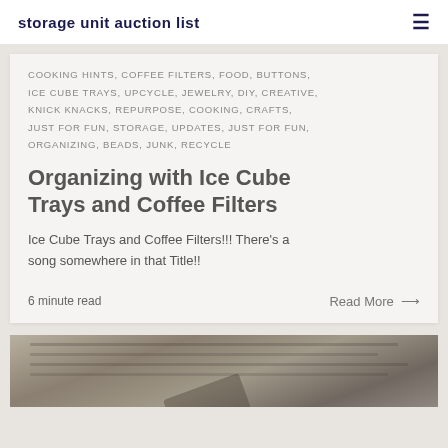storage unit auction list
COOKING HINTS, COFFEE FILTERS, FOOD, BUTTONS, ICE CUBE TRAYS, UPCYCLE, JEWELRY, DIY, CREATIVE, KNICK KNACKS, REPURPOSE, COOKING, CRAFTS, JUST FOR FUN, STORAGE, UPDATES, JUST FOR FUN, ORGANIZING, BEADS, JUNK, RECYCLE
Organizing with Ice Cube Trays and Coffee Filters
Ice Cube Trays and Coffee Filters!!! There's a song somewhere in that Title!!
6 minute read
Read More →
[Figure (photo): Partial image of a newspaper or printed document with a pen or pencil visible, in grayscale tones, partially cut off at the bottom of the page.]